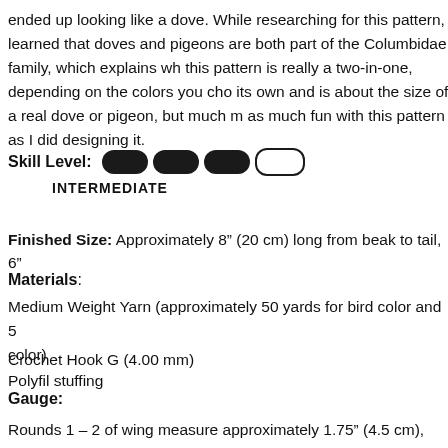ended up looking like a dove. While researching for this pattern, I learned that doves and pigeons are both part of the Columbidae family, which explains why this pattern is really a two-in-one, depending on the colors you choose. The toy stands on its own and is about the size of a real dove or pigeon, but much more huggable! Have as much fun with this pattern as I did designing it.
Skill Level: INTERMEDIATE
Finished Size: Approximately 8” (20 cm) long from beak to tail, 6”
Materials:
Medium Weight Yarn (approximately 50 yards for bird color and 5 yards for beak color)
Crochet Hook G (4.00 mm)
Polyfil stuffing
Plastic safety eyes (around 8 mm works best)
2 pipe cleaners (chenille stems)
Hot glue or craft glue
Gauge:
Rounds 1 – 2 of wing measure approximately 1.75” (4.5 cm),